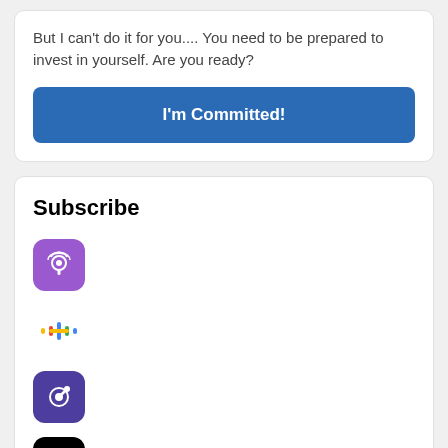But I can't do it for you.... You need to be prepared to invest in yourself. Are you ready?
[Figure (screenshot): Blue button labeled 'I'm Committed!']
Subscribe
[Figure (logo): Apple Podcasts app icon - purple with podcast waves symbol]
[Figure (logo): Google Podcasts app icon - colorful bar chart style icon]
[Figure (logo): Overcast podcast app icon - dark purple with arrow symbol]
[Figure (logo): Spotify app icon - black with green circle and sound bars]